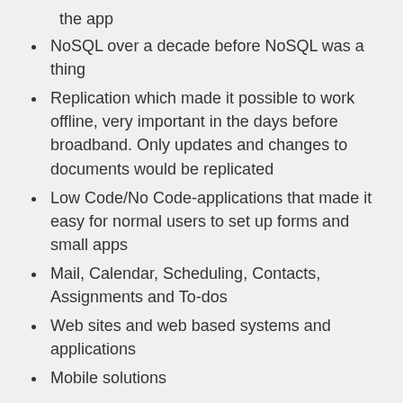the app
NoSQL over a decade before NoSQL was a thing
Replication which made it possible to work offline, very important in the days before broadband. Only updates and changes to documents would be replicated
Low Code/No Code-applications that made it easy for normal users to set up forms and small apps
Mail, Calendar, Scheduling, Contacts, Assignments and To-dos
Web sites and web based systems and applications
Mobile solutions
And in its 31st year, Notes and Domino (the server Notes applications run on) are more vital than they have been in years. HCL is now making it possible to run a Notes client inside your web browser. And you can easily set up web based solutions and integrate with other systems.